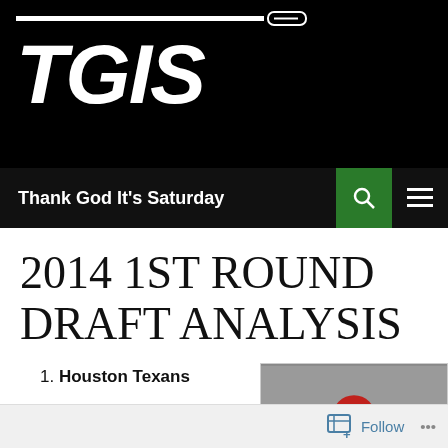TGIS — Thank God It's Saturday
2014 1ST ROUND DRAFT ANALYSIS
1. Houston Texans
Jadeveon Clowney, DE, South Carolina
[Figure (photo): Jadeveon Clowney in a red South Carolina football uniform in a three-point stance on the field]
(truncated text line at bottom)
Follow ...